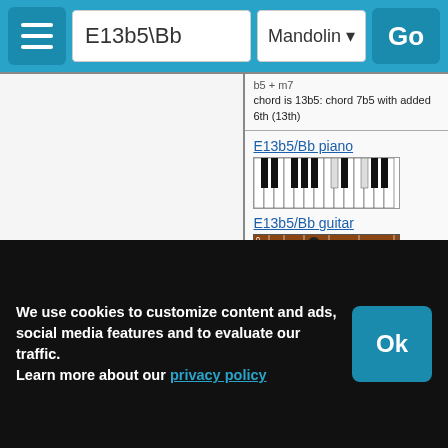E13b5\Bb — Mandolin — Go
b5 + m7
chord is 13b5: chord 7b5 with added 6th (13th)
E13b5/Bb piano
[Figure (illustration): Piano keyboard diagram for E13b5/Bb chord]
E13b5/Bb guitar
[Figure (illustration): Guitar fretboard diagram for E13b5/Bb chord]
E13b5/Bb ukulele
[Figure (illustration): Ukulele chord diagram label: E13b5/Bb chord]
[Figure (illustration): Ukulele fingering grid diagram for E13b5/Bb]
E13b5/Bb mandolin
[Figure (illustration): Mandolin chord grid diagram for E13b5/Bb]
E13b5/Bb on other instruments
We use cookies to customize content and ads, social media features and to evaluate our traffic.
Learn more about our privacy policy